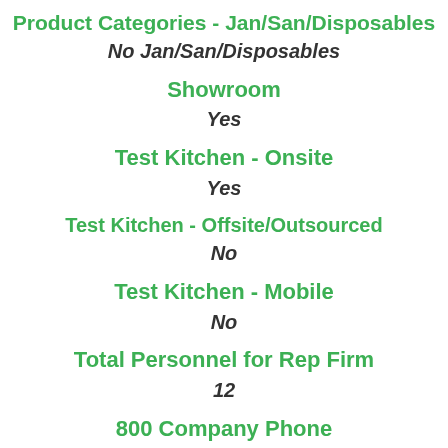Product Categories - Jan/San/Disposables
No Jan/San/Disposables
Showroom
Yes
Test Kitchen - Onsite
Yes
Test Kitchen - Offsite/Outsourced
No
Test Kitchen - Mobile
No
Total Personnel for Rep Firm
12
800 Company Phone